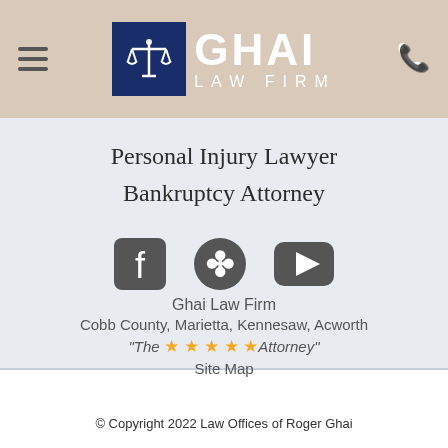[Figure (logo): Ghai Law Firm logo with dark navy square containing scales of justice icon, beside text GHAI in large white letters and LAW FIRM below]
Personal Injury Lawyer
Bankruptcy Attorney
[Figure (infographic): Social media icons: Facebook, Yelp, YouTube in dark gray]
Ghai Law Firm
Cobb County, Marietta, Kennesaw, Acworth
"The ★★★★★ Attorney"
Site Map
© Copyright 2022 Law Offices of Roger Ghai